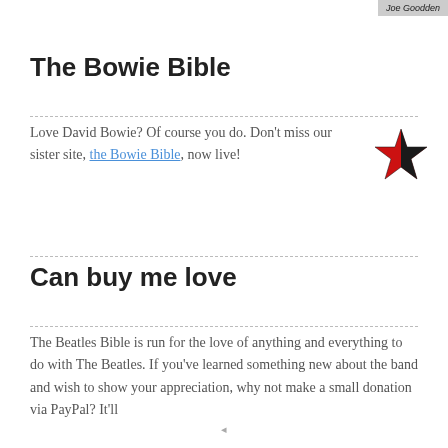Joe Goodden
The Bowie Bible
Love David Bowie? Of course you do. Don't miss our sister site, the Bowie Bible, now live!
[Figure (illustration): A black and red star logo (Bowie-style lightning bolt star)]
Can buy me love
The Beatles Bible is run for the love of anything and everything to do with The Beatles. If you've learned something new about the band and wish to show your appreciation, why not make a small donation via PayPal? It'll